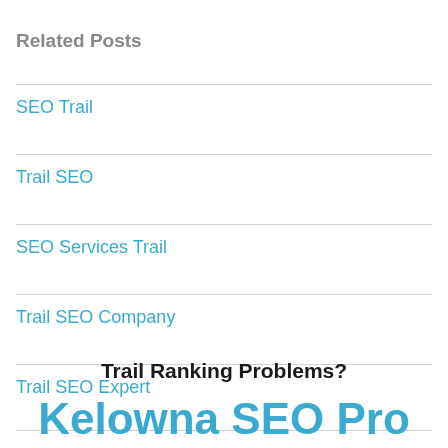Related Posts
SEO Trail
Trail SEO
SEO Services Trail
Trail SEO Company
Trail SEO Expert
Trail Ranking Problems?
Kelowna SEO Pro